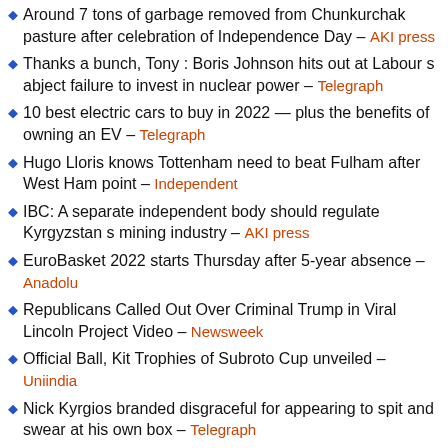Around 7 tons of garbage removed from Chunkurchak pasture after celebration of Independence Day – AKI press
Thanks a bunch, Tony : Boris Johnson hits out at Labour s abject failure to invest in nuclear power – Telegraph
10 best electric cars to buy in 2022 — plus the benefits of owning an EV – Telegraph
Hugo Lloris knows Tottenham need to beat Fulham after West Ham point – Independent
IBC: A separate independent body should regulate Kyrgyzstan s mining industry – AKI press
EuroBasket 2022 starts Thursday after 5-year absence – Anadolu
Republicans Called Out Over Criminal Trump in Viral Lincoln Project Video – Newsweek
Official Ball, Kit Trophies of Subroto Cup unveiled – Uniindia
Nick Kyrgios branded disgraceful for appearing to spit and swear at his own box – Telegraph